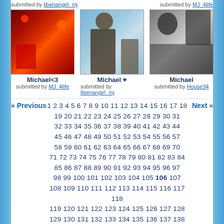submitted by liberiangirl_mj    submitted by MJ_4life
[Figure (photo): Three photos of Michael Jackson: first a dark red stage performance photo, second an outdoor color photo, third a black and white photo.]
Michael<3 submitted by MJ_4life
Michael ♥ submitted by liberiangirl_mj
Michael submitted by House34
« Previous  1 2 3 4 5 6 7 8 9 10 11 12 13 14 15 16 17 18 19 20 21 22 23 24 25 26 27 28 29 30 31 32 33 34 35 36 37 38 39 40 41 42 43 44 45 46 47 48 49 50 51 52 53 54 55 56 57 58 59 60 61 62 63 64 65 66 67 68 69 70 71 72 73 74 75 76 77 78 79 80 81 82 83 84 85 86 87 88 89 90 91 92 93 94 95 96 97 98 99 100 101 102 103 104 105 106 107 108 109 110 111 112 113 114 115 116 117 118 119 120 121 122 123 124 125 126 127 128 129 130 131 132 133 134 135 136 137 138 139 140 141 142 143 144 145 146 147 148 149 150 151 152 153 154 155 156 157 158  Next »